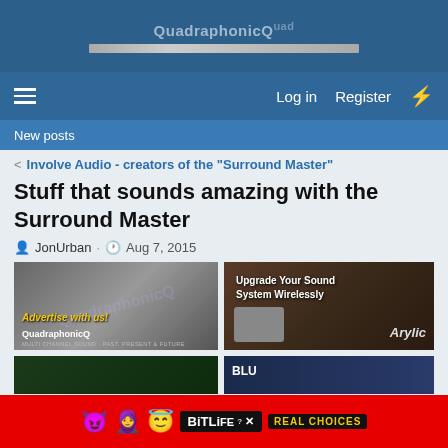[Figure (screenshot): QuadraphonicQuad forum website logo and navigation bar with hamburger menu, Log in, Register links]
New posts
< Involve Audio - creators of the "Surround Master"
Stuff that sounds amazing with the Surround Master
JonUrban · Aug 7, 2015
[Figure (screenshot): Advertisement: Advertise with us! QuadraphonicQ - Multi Channel Sound - Past, Present & Future]
[Figure (screenshot): Advertisement: Upgrade Your Sound System Wirelessly - Arylic]
[Figure (screenshot): Partial bottom image row with green grid graphic and BLU text]
Report Ad
[Figure (screenshot): BitLife advertisement banner - Real Choices with emoji characters on red background]